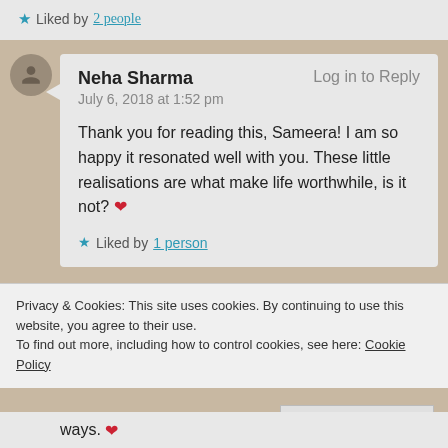★ Liked by 2 people
Neha Sharma
Log in to Reply
July 6, 2018 at 1:52 pm
Thank you for reading this, Sameera! I am so happy it resonated well with you. These little realisations are what make life worthwhile, is it not? ❤
★ Liked by 1 person
Privacy & Cookies: This site uses cookies. By continuing to use this website, you agree to their use.
To find out more, including how to control cookies, see here: Cookie Policy
Close and accept
ways. ❤